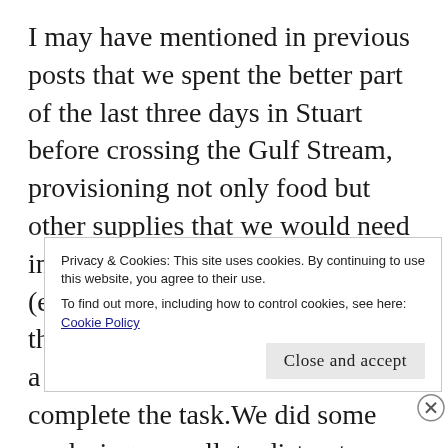I may have mentioned in previous posts that we spent the better part of the last three days in Stuart before crossing the Gulf Stream, provisioning not only food but other supplies that we would need in the event of equipment failure (extra beer and tonic to mix with the spirits aboard..)  We had rented a car for just over 24 hours to complete the task.We did some exploring as well, to distract ourselves
Privacy & Cookies: This site uses cookies. By continuing to use this website, you agree to their use.
To find out more, including how to control cookies, see here: Cookie Policy
Close and accept